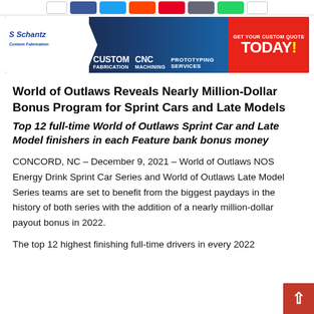[Figure (other): Social media share buttons bar (white, Facebook blue, Twitter cyan, Reddit orange, Pinterest red, LinkedIn grey, WhatsApp green, white)]
[Figure (other): Schantz Custom Fabrication banner advertisement. Blue and red background. Logo on left, services (Custom Fabrication, CNC Machining, Prototyping Services) in middle, 'Get your custom quote TODAY!' call to action on right in red section. Phone: 618.300.6016]
World of Outlaws Reveals Nearly Million-Dollar Bonus Program for Sprint Cars and Late Models
Top 12 full-time World of Outlaws Sprint Car and Late Model finishers in each Feature bank bonus money
CONCORD, NC – December 9, 2021 – World of Outlaws NOS Energy Drink Sprint Car Series and World of Outlaws Late Model Series teams are set to benefit from the biggest paydays in the history of both series with the addition of a nearly million-dollar payout bonus in 2022.
The top 12 highest finishing full-time drivers in every 2022